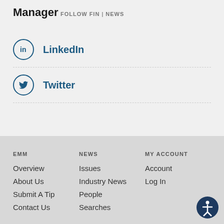Manager
FOLLOW FIN | NEWS
LinkedIn
Twitter
EMM
NEWS
MY ACCOUNT
Overview
Issues
Account
About Us
Industry News
Log In
Submit A Tip
People
Contact Us
Searches